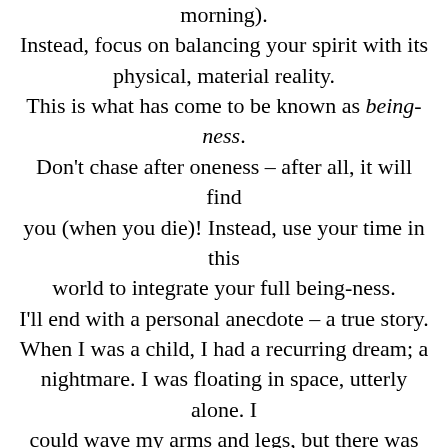morning). Instead, focus on balancing your spirit with its physical, material reality. This is what has come to be known as being-ness. Don't chase after oneness – after all, it will find you (when you die)! Instead, use your time in this world to integrate your full being-ness. I'll end with a personal anecdote – a true story. When I was a child, I had a recurring dream; a nightmare. I was floating in space, utterly alone. I could wave my arms and legs, but there was no way of moving anywhere – I was weightless, with no momentum. Lost, alone, and powerless. In the far distance there was a tiny speck of something. I had no idea what it was, but it felt